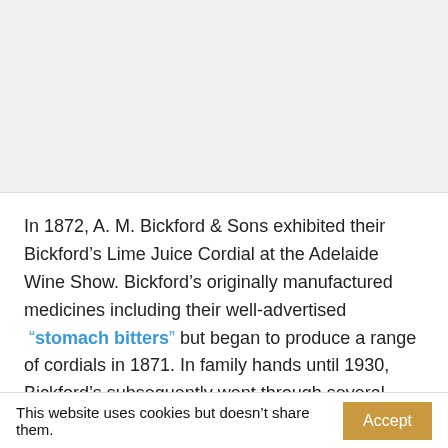[Figure (photo): Gray placeholder area representing an image (content not visible)]
In 1872, A. M. Bickford & Sons exhibited their Bickford’s Lime Juice Cordial at the Adelaide Wine Show. Bickford’s originally manufactured medicines including their well-advertised “stomach bitters” but began to produce a range of cordials in 1871. In family hands until 1930, Bickford’s subsequently went through several changes of
This website uses cookies but doesn’t share them.